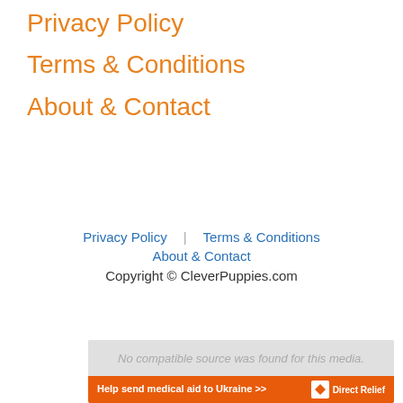Privacy Policy
Terms & Conditions
About & Contact
Privacy Policy    Terms & Conditions
About & Contact
Copyright © CleverPuppies.com
[Figure (other): Advertisement banner: gray top area with faded text, orange bottom strip with 'Help send medical aid to Ukraine >>' in bold white text and a Direct Relief logo on the right.]